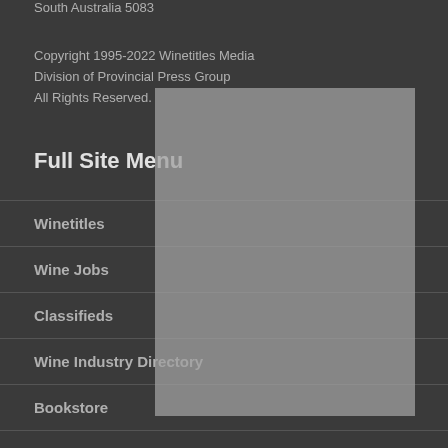South Australia 5083
Copyright 1995-2022 Winetitles Media
Division of Provincial Press Group
All Rights Reserved.
Full Site Menu
Winetitles
Wine Jobs
Classifieds
Wine Industry Directory
Bookstore
Competitions
Weather
Competitions